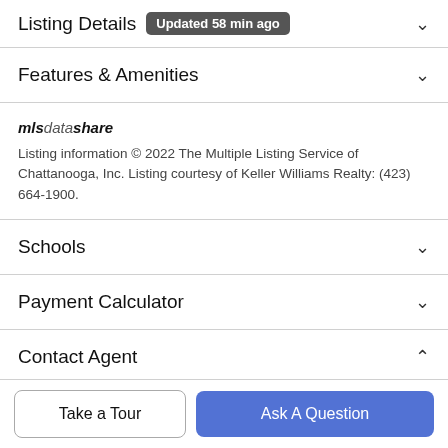Listing Details  Updated 58 min ago
Features & Amenities
[Figure (logo): mlsdatashare logo in italic text]
Listing information © 2022 The Multiple Listing Service of Chattanooga, Inc. Listing courtesy of Keller Williams Realty: (423) 664-1900.
Schools
Payment Calculator
Contact Agent
Take a Tour
Ask A Question